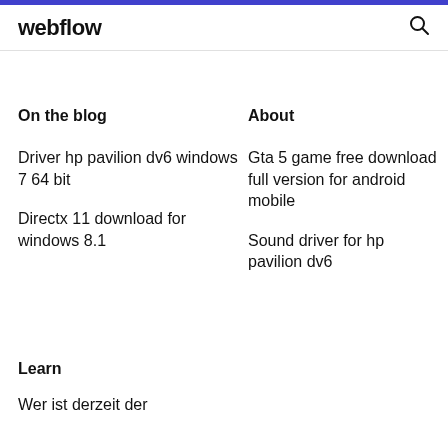webflow
On the blog
About
Driver hp pavilion dv6 windows 7 64 bit
Directx 11 download for windows 8.1
Gta 5 game free download full version for android mobile
Sound driver for hp pavilion dv6
Learn
Wer ist derzeit der